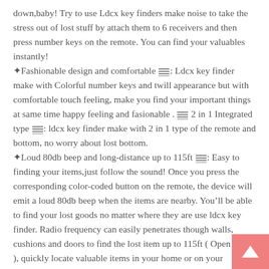down,baby! Try to use Ldcx key finders make noise to take the stress out of lost stuff by attach them to 6 receivers and then press number keys on the remote. You can find your valuables instantly! ✦Fashionable design and comfortable [icon]: Ldcx key finder make with Colorful number keys and twill appearance but with comfortable touch feeling, make you find your important things at same time happy feeling and fasionable . [icon] 2 in 1 Integrated type [icon]: ldcx key finder make with 2 in 1 type of the remote and bottom, no worry about lost bottom. ✦Loud 80db beep and long-distance up to 115ft [icon]: Easy to finding your items,just follow the sound! Once you press the corresponding color-coded button on the remote, the device will emit a loud 80db beep when the items are nearby. You'll be able to find your lost goods no matter where they are use ldcx key finder. Radio frequency can easily penetrates though walls, cushions and doors to find the lost item up to 115ft ( Open Space ), quickly locate valuable items in your home or on your property.